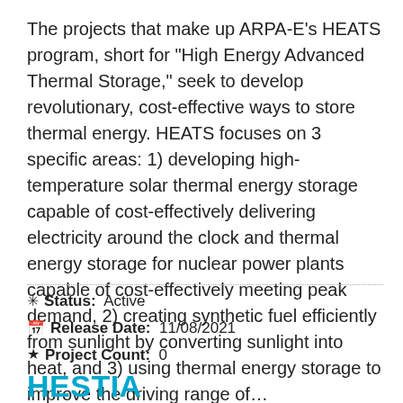The projects that make up ARPA-E's HEATS program, short for "High Energy Advanced Thermal Storage," seek to develop revolutionary, cost-effective ways to store thermal energy. HEATS focuses on 3 specific areas: 1) developing high-temperature solar thermal energy storage capable of cost-effectively delivering electricity around the clock and thermal energy storage for nuclear power plants capable of cost-effectively meeting peak demand, 2) creating synthetic fuel efficiently from sunlight by converting sunlight into heat, and 3) using thermal energy storage to improve the driving range of…
✳ Status: Active
📅 Release Date: 11/08/2021
★ Project Count: 0
HESTIA